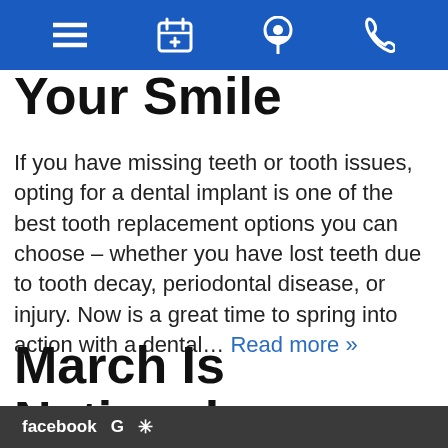[navigation bar with menu, appointment, location, phone icons]
Your Smile
If you have missing teeth or tooth issues, opting for a dental implant is one of the best tooth replacement options you can choose – whether you have lost teeth due to tooth decay, periodontal disease, or injury. Now is a great time to spring into action with a dental… Read more »
March Is National Dentist Day And
facebook  G  *